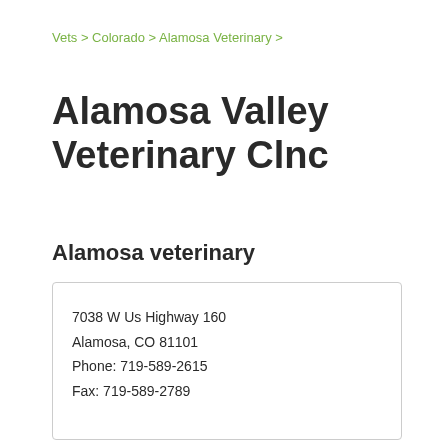Vets > Colorado > Alamosa Veterinary >
Alamosa Valley Veterinary Clnc
Alamosa veterinary
7038 W Us Highway 160
Alamosa, CO 81101
Phone: 719-589-2615
Fax: 719-589-2789